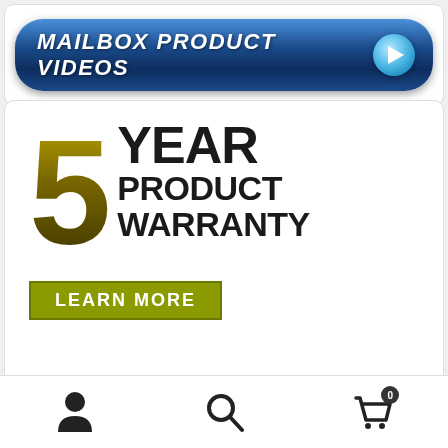[Figure (illustration): Blue rounded rectangle button with 'MAILBOX PRODUCT VIDEOS' text and a blue play button circle on the right]
[Figure (illustration): 5 YEAR PRODUCT WARRANTY badge with large golden '5' and black bold text, plus olive green 'LEARN MORE' button]
[Figure (illustration): National Mailboxes Wholesale Pricing Catalog 2022 Edition A banner with mailbox icon, blue and red logo, and blue side label '2022 Best Sellers']
[Figure (illustration): Bottom navigation bar with person icon, search icon, and shopping cart icon with badge showing 0]